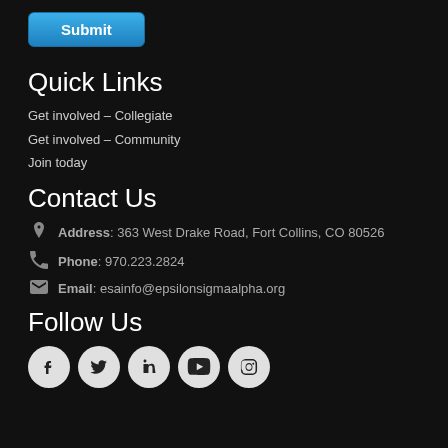Submit
Quick Links
Get involved – Collegiate
Get involved – Community
Join today
Contact Us
Address: 363 West Drake Road, Fort Collins, CO 80526
Phone: 970.223.2824
Email: esainfo@epsilonsigmaalpha.org
Follow Us
[Figure (other): Social media icons: Facebook, Twitter, LinkedIn, YouTube, Pinterest]